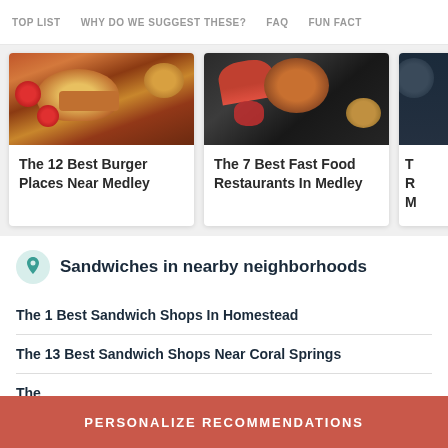TOP LIST   WHY DO WE SUGGEST THESE?   FAQ   FUN FACT
[Figure (photo): Photo of burgers on a wooden board with tomatoes]
The 12 Best Burger Places Near Medley
[Figure (photo): Photo of fast food spread on a dark table with fries and dipping sauces]
The 7 Best Fast Food Restaurants In Medley
[Figure (photo): Partially visible third card image with dark blue background]
T R M
Sandwiches in nearby neighborhoods
The 1 Best Sandwich Shops In Homestead
The 13 Best Sandwich Shops Near Coral Springs
Partially visible third list item
PERSONALIZE RECOMMENDATIONS